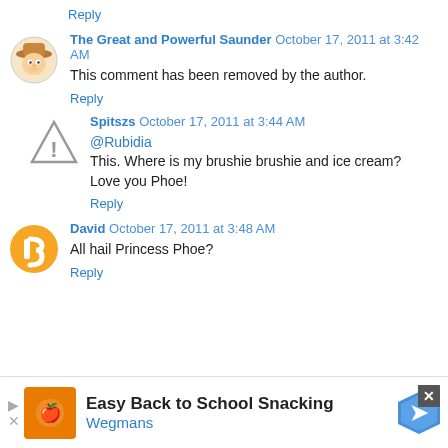Reply
The Great and Powerful Saunder  October 17, 2011 at 3:42 AM
This comment has been removed by the author.
Reply
Spitszs  October 17, 2011 at 3:44 AM
@Rubidia
This. Where is my brushie brushie and ice cream?
Love you Phoe!
Reply
David  October 17, 2011 at 3:48 AM
All hail Princess Phoe?
Reply
[Figure (screenshot): Advertisement banner: Easy Back to School Snacking - Wegmans]